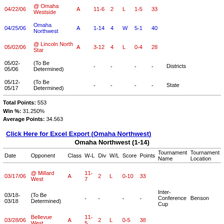| Date | Opponent | Class | W-L | Div | W/L | Score | Points | Tournament Name | Tournament Location |
| --- | --- | --- | --- | --- | --- | --- | --- | --- | --- |
| 04/22/06 | @ Omaha Westside | A | 11-6 | 2 | L | 1-5 | 33 |  |  |
| 04/25/06 | Omaha Northwest | A | 1-14 | 4 | W | 5-1 | 40 |  |  |
| 05/02/06 | @ Lincoln North Star | A | 3-12 | 4 | L | 0-4 | 28 |  |  |
| 05/02-05/06 | (To Be Determined) |  | - | - |  | - | - | Districts |  |
| 05/12-05/17 | (To Be Determined) |  | - | - |  | - | - | State |  |
Total Points: 553
Win %: 31.250%
Average Points: 34.563
Click Here for Excel Export (Omaha Northwest)
Omaha Northwest (1-14)
| Date | Opponent | Class | W-L | Div | W/L | Score | Points | Tournament Name | Tournament Location |
| --- | --- | --- | --- | --- | --- | --- | --- | --- | --- |
| 03/17/06 | @ Millard West | A | 11-7 | 2 | L | 0-10 | 33 |  |  |
| 03/18-03/18 | (To Be Determined) |  | - | - |  | - | - | Inter-Conference Cup | Benson |
| 03/28/06 | Bellevue West | A | 11-5 | 2 | L | 0-5 | 38 |  |  |
|  | Omaha |  |  |  |  |  |  |  |  |